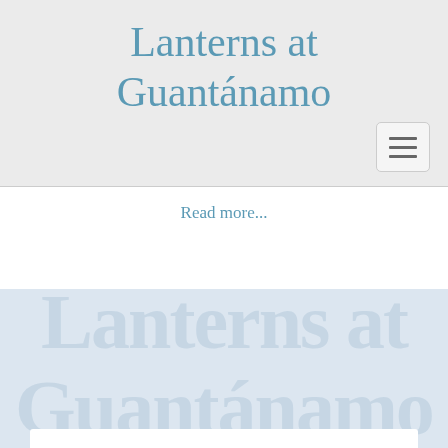Lanterns at Guantánamo
Read more...